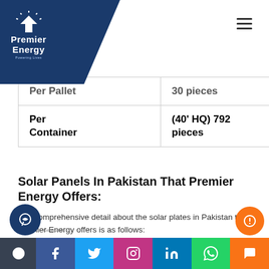Premier Energy — navigation header with logo and hamburger menu
|  |  |
| --- | --- |
| Per Pallet | 30 pieces |
| Per Container | (40' HQ) 792 pieces |
Solar Panels In Pakistan That Premier Energy Offers:
The comprehensive detail about the solar plates in Pakistan that Premier Energy offers is as follows:
JA Solar
JA solar is a highly reputable company with some of the best solar panels in Pakistan. These plates have been loved by many clients and offer highly efficient energy
Social media bar: GetButton, Facebook, Twitter, Instagram, LinkedIn, WhatsApp, Chat